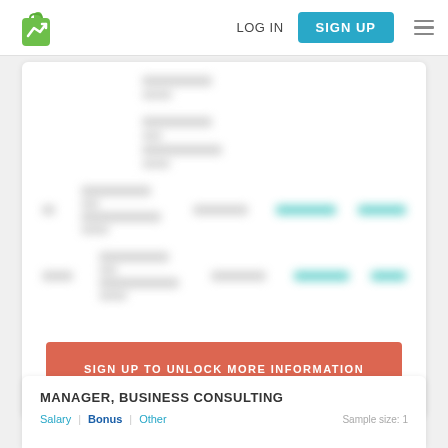LOG IN | SIGN UP
[Figure (screenshot): Blurred salary data table rows with teal-colored salary/bonus values, partially obscured to prompt sign-up]
SIGN UP TO UNLOCK MORE INFORMATION
MANAGER, BUSINESS CONSULTING
Salary | Bonus | Other    Sample size: 1